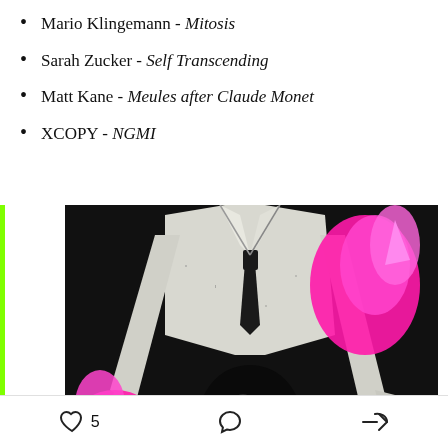Mario Klingemann – Mitosis
Sarah Zucker – Self Transcending
Matt Kane – Meules after Claude Monet
XCOPY – NGMI
[Figure (illustration): Dark/black background artwork showing a skeletal or mannequin-like figure wearing a suit with a tie, with bright pink/magenta flames visible on the lower left and right shoulder area. The style is high-contrast graphic art with black, white, and hot pink colors.]
5  [heart icon]  [comment icon]  [share icon]